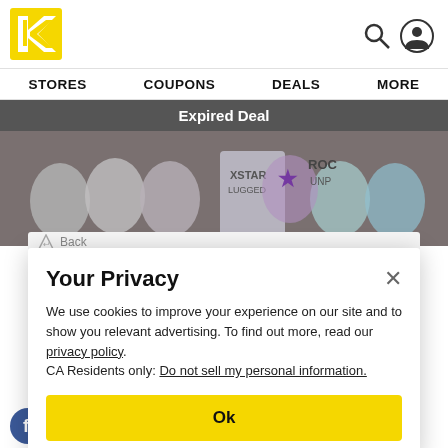[Figure (logo): Kroger K logo in yellow square]
STORES   COUPONS   DEALS   MORE
Expired Deal
[Figure (photo): Photo of Rockstar energy drink cans stacked together]
Your Privacy
We use cookies to improve your experience on our site and to show you relevant advertising. To find out more, read our privacy policy.
CA Residents only: Do not sell my personal information.
Ok